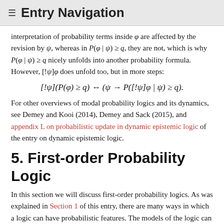≡ Entry Navigation
interpretation of probability terms inside φ are affected by the revision by ψ, whereas in P(φ | ψ) ≥ q, they are not, which is why P(φ | ψ) ≥ q nicely unfolds into another probability formula. However, [!ψ]φ does unfold too, but in more steps:
For other overviews of modal probability logics and its dynamics, see Demey and Kooi (2014), Demey and Sack (2015), and appendix L on probabilistic update in dynamic epistemic logic of the entry on dynamic epistemic logic.
5. First-order Probability Logic
In this section we will discuss first-order probability logics. As was explained in Section 1 of this entry, there are many ways in which a logic can have probabilistic features. The models of the logic can have probabilistic